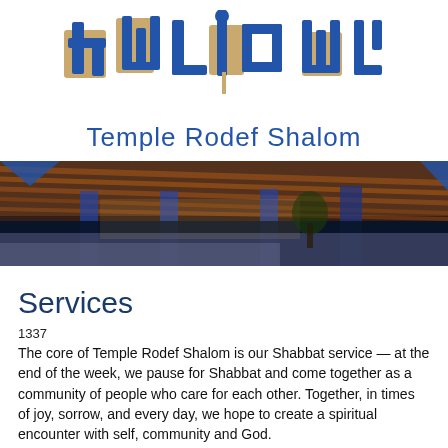[Figure (logo): Temple Rodef Shalom logo with Hebrew-style decorative lettering in blue and tan/gold colors]
Temple Rodef Shalom
[Figure (photo): Interior/exterior architectural photo of Temple Rodef Shalom showing wooden ceiling beams and blue lighting at night]
Services
1337
The core of Temple Rodef Shalom is our Shabbat service — at the end of the week, we pause for Shabbat and come together as a community of people who care for each other. Together, in times of joy, sorrow, and every day, we hope to create a spiritual encounter with self, community and God.
Reflecting the diversity of our membership, we have diversity in our prayer-life as well. We celebrate Shabbat with song, prayer and